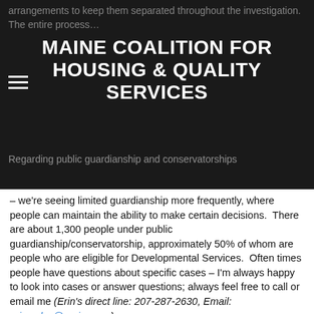arrangements to keep them separated throughout the investigation. The entire process...
MAINE COALITION FOR HOUSING & QUALITY SERVICES
Regarding public guardianship and conservatorships – we're seeing limited guardianship more frequently, where people can maintain the ability to make certain decisions.  There are about 1,300 people under public guardianship/conservatorship, approximately 50% of whom are people who are eligible for Developmental Services.  Often times people have questions about specific cases – I'm always happy to look into cases or answer questions; always feel free to call or email me (Erin's direct line: 207-287-2630, Email: erin.salvo@maine.gov).
Discussion:
-A provider stated that in general, the few calls they've had to make to APS have gone well.  Erin was thanked